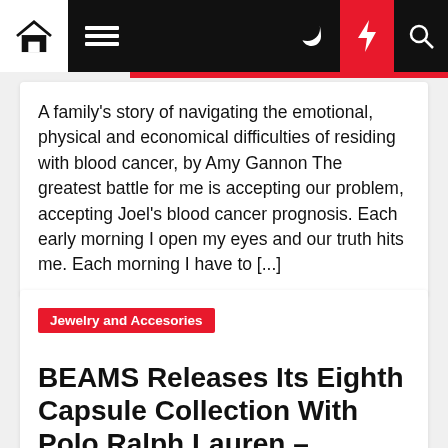Navigation bar with home, menu, moon, lightning, and search icons
A family's story of navigating the emotional, physical and economical difficulties of residing with blood cancer, by Amy Gannon The greatest battle for me is accepting our problem, accepting Joel's blood cancer prognosis. Each early morning I open my eyes and our truth hits me. Each morning I have to [...]
Jewelry and Accesories
BEAMS Releases Its Eighth Capsule Collection With Polo Ralph Lauren – Fashion